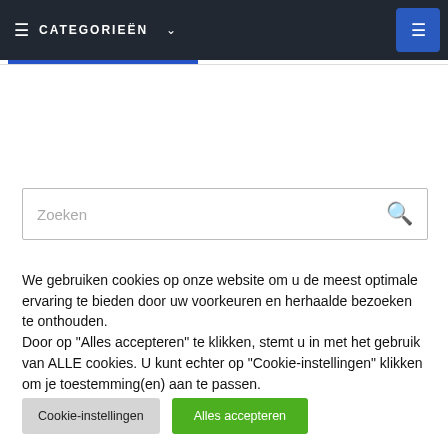≡  CATEGORIEËN  ∨
[Figure (screenshot): Search bar with placeholder text 'Zoeken' and a blue search icon on the right]
We gebruiken cookies op onze website om u de meest optimale ervaring te bieden door uw voorkeuren en herhaalde bezoeken te onthouden.
Door op "Alles accepteren" te klikken, stemt u in met het gebruik van ALLE cookies. U kunt echter op "Cookie-instellingen" klikken om je toestemming(en) aan te passen.
Cookie-instellingen    Alles accepteren